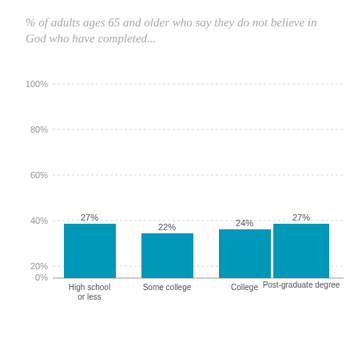% of adults ages 65 and older who say they do not believe in God who have completed...
[Figure (bar-chart): % of adults ages 65 and older who say they do not believe in God who have completed...]